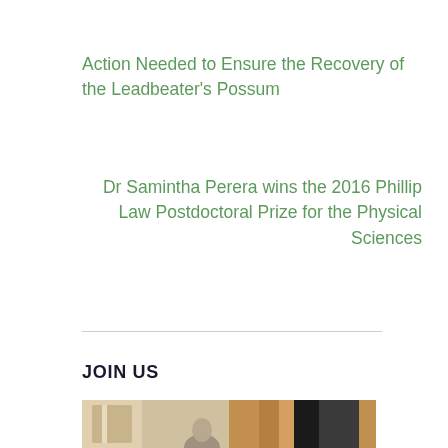Action Needed to Ensure the Recovery of the Leadbeater's Possum
Dr Samintha Perera wins the 2016 Phillip Law Postdoctoral Prize for the Physical Sciences
JOIN US
[Figure (photo): A photograph showing two people in an indoor setting, partially visible at the bottom of the page.]